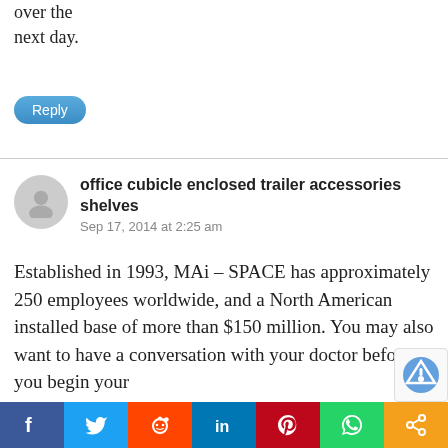over the next day.
Reply
office cubicle enclosed trailer accessories shelves
Sep 17, 2014 at 2:25 am
Established in 1993, MAi – SPACE has approximately 250 employees worldwide, and a North American installed base of more than $150 million. You may also want to have a conversation with your doctor before you begin your new routine, especially if you have an injury or condition that might affect your exercise plans.
[Figure (infographic): Social sharing bar with icons for Facebook, Twitter, Reddit, LinkedIn, Pinterest, WhatsApp, and Share]